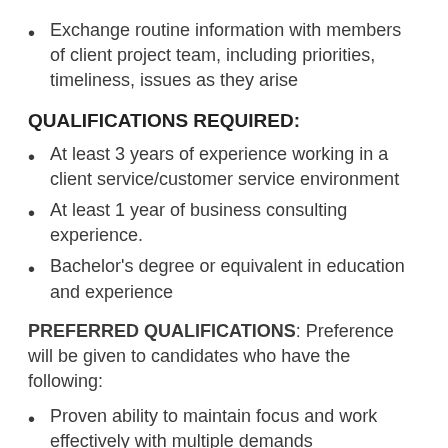Exchange routine information with members of client project team, including priorities, timeliness, issues as they arise
QUALIFICATIONS REQUIRED:
At least 3 years of experience working in a client service/customer service environment
At least 1 year of business consulting experience.
Bachelor's degree or equivalent in education and experience
PREFERRED QUALIFICATIONS: Preference will be given to candidates who have the following:
Proven ability to maintain focus and work effectively with multiple demands
Ability to work both independently to provide solutions to the client and as part of a team to